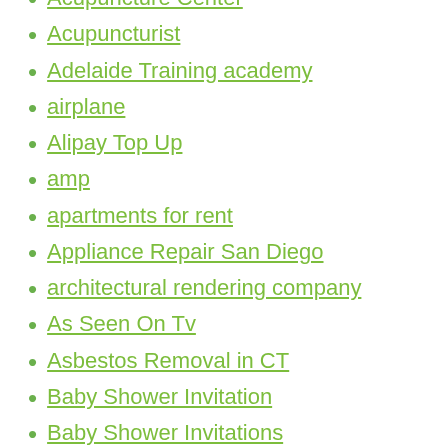Acupuncture Center
Acupuncturist
Adelaide Training academy
airplane
Alipay Top Up
amp
apartments for rent
Appliance Repair San Diego
architectural rendering company
As Seen On Tv
Asbestos Removal in CT
Baby Shower Invitation
Baby Shower Invitations
baby shower prediction cards unisex
become a non sexual male escorts uk
best realtors in surrey
best russian literature
birthday invitation youtube
black magic books